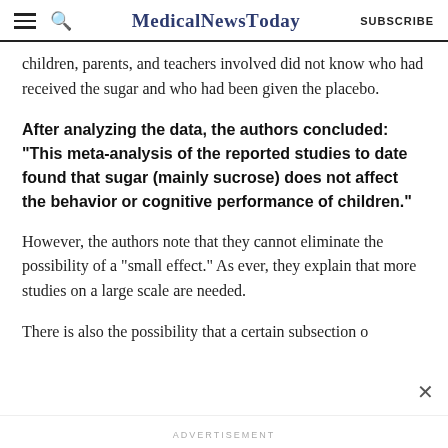MedicalNewsToday  SUBSCRIBE
children, parents, and teachers involved did not know who had received the sugar and who had been given the placebo.
After analyzing the data, the authors concluded: “This meta-analysis of the reported studies to date found that sugar (mainly sucrose) does not affect the behavior or cognitive performance of children.”
However, the authors note that they cannot eliminate the possibility of a “small effect.” As ever, they explain that more studies on a large scale are needed.
There is also the possibility that a certain subsection o
ADVERTISEMENT